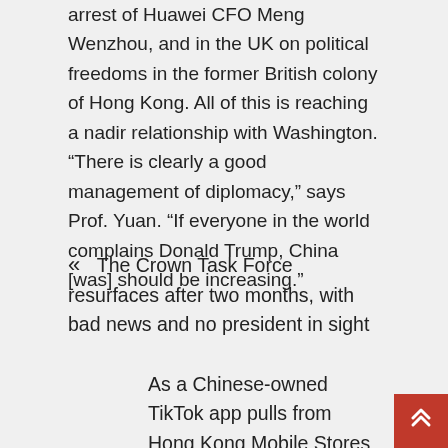arrest of Huawei CFO Meng Wenzhou, and in the UK on political freedoms in the former British colony of Hong Kong. All of this is reaching a nadir relationship with Washington. “There is clearly a good management of diplomacy,” says Prof. Yuan. “If everyone in the world complains Donald Trump, China [was] should be increasing.”
«  The Crown Task Force resurfaces after two months, with bad news and no president in sight
As a Chinese-owned TikTok app pulls from Hong Kong Mobile Stores amide National Security law »